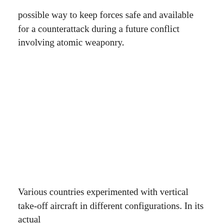possible way to keep forces safe and available for a counterattack during a future conflict involving atomic weaponry.
Various countries experimented with vertical take-off aircraft in different configurations. In its actual